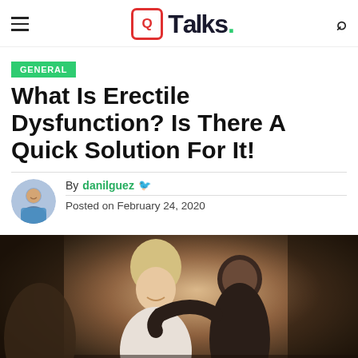QTalks.
GENERAL
What Is Erectile Dysfunction? Is There A Quick Solution For It!
By danilguez
Posted on February 24, 2020
[Figure (photo): A smiling blonde woman and a dark-haired man in an intimate moment, seated indoors with a brick wall in the background.]